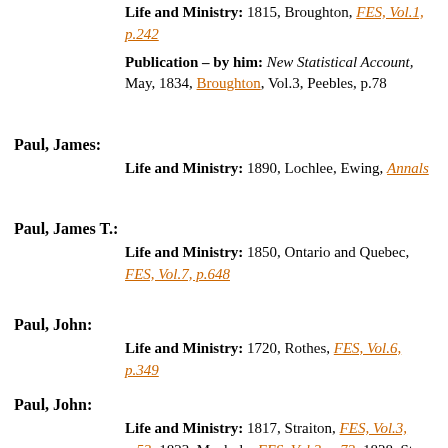Life and Ministry: 1815, Broughton, FES, Vol.1, p.242
Publication – by him: New Statistical Account, May, 1834, Broughton, Vol.3, Peebles, p.78
Paul, James:
Life and Ministry: 1890, Lochlee, Ewing, Annals
Paul, James T.:
Life and Ministry: 1850, Ontario and Quebec, FES, Vol.7, p.648
Paul, John:
Life and Ministry: 1720, Rothes, FES, Vol.6, p.349
Paul, John:
Life and Ministry: 1817, Straiton, FES, Vol.3, p.53; 1823, Maybole, FES, Vol.3, p.72; 1828, St Cuthbert's, Edinburgh, FES, Vol.1, p.98; FES, Vol.8, p.19; 1847, Moderator, FES, Vol.7, p.445